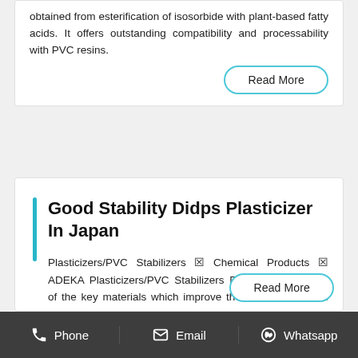obtained from esterification of isosorbide with plant-based fatty acids. It offers outstanding compatibility and processability with PVC resins.
Read More
Good Stability Didps Plasticizer In Japan
Plasticizers/PVC Stabilizers ☒ Chemical Products ☒ ADEKA Plasticizers/PVC Stabilizers Plasticizers are one of the key materials which improve the characteristics of the final products such as flexibility, which would not be realized without it, to PVC and rubbers. PVC stabilizers are one of the
Read More
Phone   Email   Whatsapp